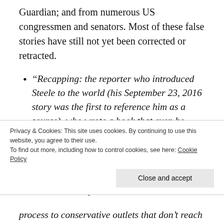Guardian; and from numerous US congressmen and senators. Most of these false stories have still not yet been corrected or retracted.
“Recapping: the reporter who introduced Steele to the world (his September 23, 2016 story was the first to reference him as a source), who wrote a book that even he concedes was seen as “validating” the pee tape story, suddenly backtracks and says the whole thing may have been based on a Las Vegas strip act, but it doesn’t matter because Stormy
Privacy & Cookies: This site uses cookies. By continuing to use this website, you agree to their use.
To find out more, including how to control cookies, see here: Cookie Policy
process to conservative outlets that don’t reach